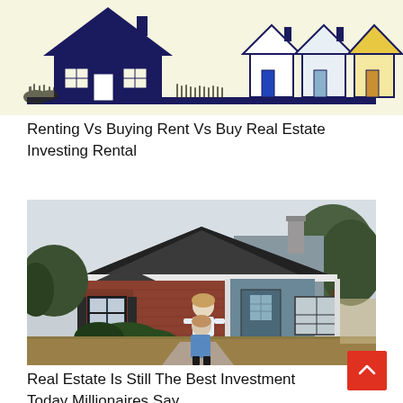[Figure (illustration): Illustration of houses representing renting vs buying real estate: a large dark navy house on the left with grass/plants, and three smaller outlined houses (white, blue, yellow) on the right, all on a dark navy baseline bar.]
Renting Vs Buying Rent Vs Buy Real Estate Investing Rental
[Figure (photo): Photograph of a couple outside a brick ranch-style home with a dark roof, teal/grey siding on the right side, and green trees. One person is giving the other a piggyback ride on a concrete path leading to the front door.]
Real Estate Is Still The Best Investment Today Millionaires Say